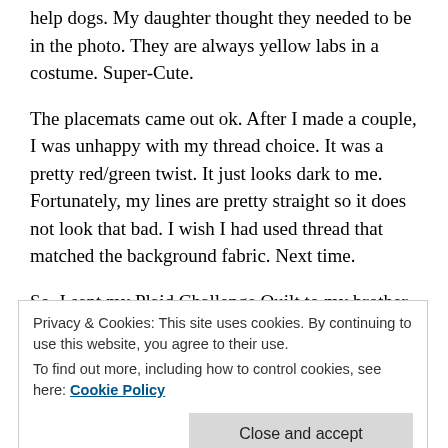help dogs. My daughter thought they needed to be in the photo. They are always yellow labs in a costume. Super-Cute.
The placemats came out ok. After I made a couple, I was unhappy with my thread choice. It was a pretty red/green twist. It just looks dark to me. Fortunately, my lines are pretty straight so it does not look that bad. I wish I had used thread that matched the background fabric. Next time.
So, I sent my Plaid Challenge Quilt to my brother-in-law. He had a woman near me who thought it was right
Privacy & Cookies: This site uses cookies. By continuing to use this website, you agree to their use.
To find out more, including how to control cookies, see here: Cookie Policy
Close and accept